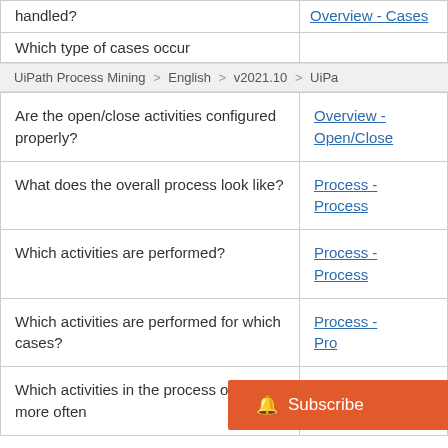| Question | Link |
| --- | --- |
| handled? | Overview - Cases (partial) |
| Which type of cases occur | (partial link) |
| Are the open/close activities configured properly? | Overview - Open/Close |
| What does the overall process look like? | Process - Process |
| Which activities are performed? | Process - Process |
| Which activities are performed for which cases? | Process - Pro... |
| Which activities in the process occur more often | Process - Repetitions |
UiPath Process Mining > English > v2021.10 > UiPa...
Subscribe